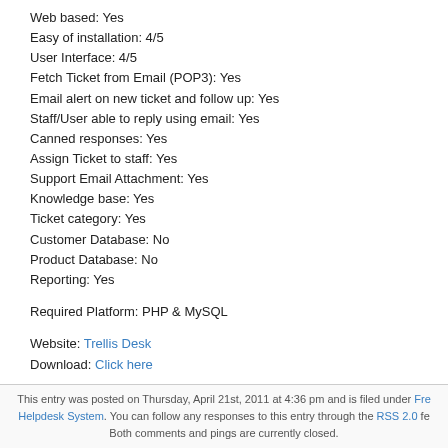Web based: Yes
Easy of installation: 4/5
User Interface: 4/5
Fetch Ticket from Email (POP3): Yes
Email alert on new ticket and follow up: Yes
Staff/User able to reply using email: Yes
Canned responses: Yes
Assign Ticket to staff: Yes
Support Email Attachment: Yes
Knowledge base: Yes
Ticket category: Yes
Customer Database: No
Product Database: No
Reporting: Yes
Required Platform: PHP & MySQL
Website: Trellis Desk
Download: Click here
If this help desk software is not suitable for your, you may wan to look at eTicket or Hesk.
This entry was posted on Thursday, April 21st, 2011 at 4:36 pm and is filed under Free Helpdesk System. You can follow any responses to this entry through the RSS 2.0 feed. Both comments and pings are currently closed.